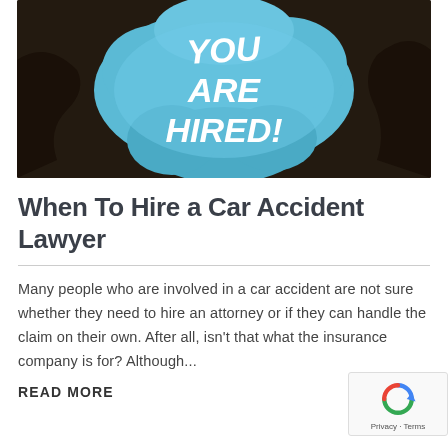[Figure (illustration): Dark brown background with a blue cloud-like speech bubble shape in the center containing bold white text: 'YOU ARE HIRED!']
When To Hire a Car Accident Lawyer
Many people who are involved in a car accident are not sure whether they need to hire an attorney or if they can handle the claim on their own. After all, isn't that what the insurance company is for? Although...
READ MORE